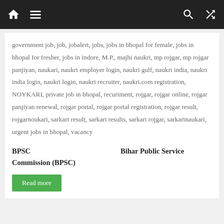Navigation bar with home, menu, search, and shuffle icons
government job, job, jobalert, jobs, jobs in bhopal for female, jobs in bhopal for fresher, jobs in indore, M.P., majhi naukri, mp rojgar, mp rojgar panjiyan, naukari, naukri employer login, naukri gulf, naukri india, naukri india login, naukri login, naukri recruiter, naukri.com registration, NOYKARI, private job in bhopal, recuriment, rojgar, rojgar online, rojgar panjiyan renewal, rojgar portal, rojgar portal registration, rojgar result, rojgarnoukari, sarkari result, sarkari results, sarkari rojgar, sarkarinaukari, urgent jobs in bhopal, vacancy
BPSC     Bihar Public Service Commission (BPSC)
Read more